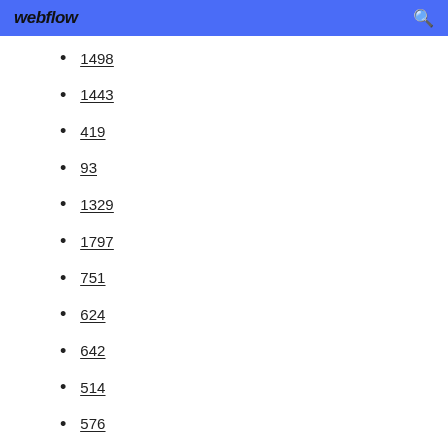webflow
1498
1443
419
93
1329
1797
751
624
642
514
576
1984
1498